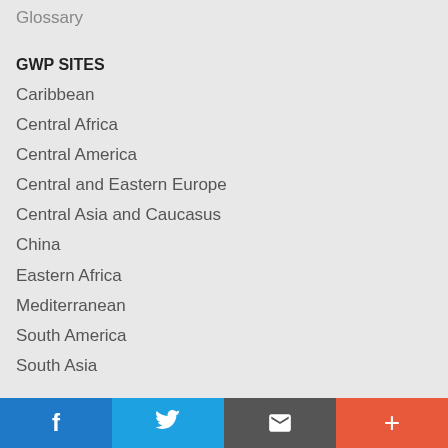Glossary
GWP SITES
Caribbean
Central Africa
Central America
Central and Eastern Europe
Central Asia and Caucasus
China
Eastern Africa
Mediterranean
South America
South Asia